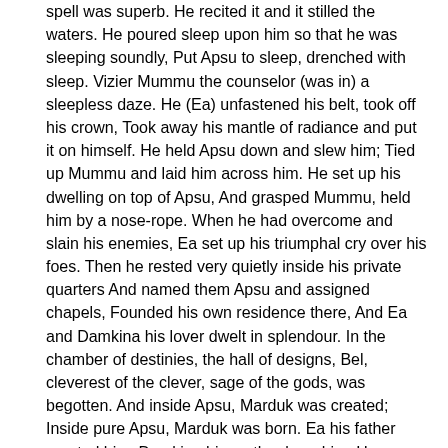spell was superb. He recited it and it stilled the waters. He poured sleep upon him so that he was sleeping soundly, Put Apsu to sleep, drenched with sleep. Vizier Mummu the counselor (was in) a sleepless daze. He (Ea) unfastened his belt, took off his crown, Took away his mantle of radiance and put it on himself. He held Apsu down and slew him; Tied up Mummu and laid him across him. He set up his dwelling on top of Apsu, And grasped Mummu, held him by a nose-rope. When he had overcome and slain his enemies, Ea set up his triumphal cry over his foes. Then he rested very quietly inside his private quarters And named them Apsu and assigned chapels, Founded his own residence there, And Ea and Damkina his lover dwelt in splendour. In the chamber of destinies, the hall of designs, Bel, cleverest of the clever, sage of the gods, was begotten. And inside Apsu, Marduk was created; Inside pure Apsu, Marduk was born. Ea his father created him, Damkina his mother bore him. He suckled the teats of goddesses; The nurse reared him filled him with awesomeness. Proud was his form, piercing his stare, Mature his emergence, he was powerful from the start. Anu his father's begetter beheld him, And rejoiced, beamed; his heart was filled with joy. He made him so perfect that his godhead was doubled. Elevated far above them, he was superior in every way. His limbs were ingeniously made beyond comprehension, Impossible